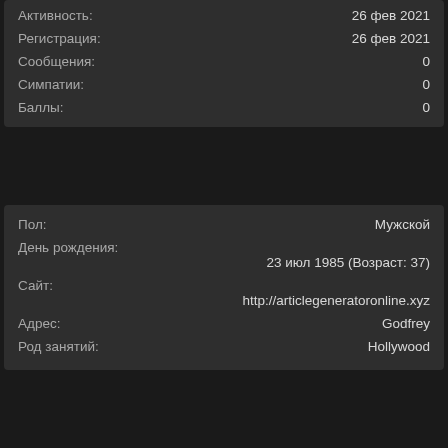| Field | Value |
| --- | --- |
| Активность: | 26 фев 2021 |
| Регистрация: | 26 фев 2021 |
| Сообщения: | 0 |
| Симпатии: | 0 |
| Баллы: | 0 |
| Field | Value |
| --- | --- |
| Пол: | Мужской |
| День рождения: | 23 июл 1985 (Возраст: 37) |
| Сайт: | http://articlegeneratoronline.xyz |
| Адрес: | Godfrey |
| Род занятий: | Hollywood |
Форум » Пользователи » emixun
⚙ Russian (RU)
✉ Обратная связь 🏠 ▲ 📡
Помощь   Условия и правила   Style by Arty
Forum software by XenForo™